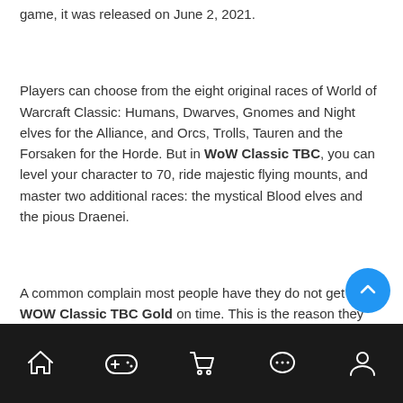game, it was released on June 2, 2021.
Players can choose from the eight original races of World of Warcraft Classic: Humans, Dwarves, Gnomes and Night elves for the Alliance, and Orcs, Trolls, Tauren and the Forsaken for the Horde. But in WoW Classic TBC, you can level your character to 70, ride majestic flying mounts, and master two additional races: the mystical Blood elves and the pious Draenei.
A common complain most people have they do not get the WOW Classic TBC Gold on time. This is the reason they are unable to complete their story when they want. In order to resolve this issue, MMOPIXEL can offer you WoW Classic TBC Gold with the fastest delivery services.
Navigation bar with home, game controller, cart, chat, and user icons